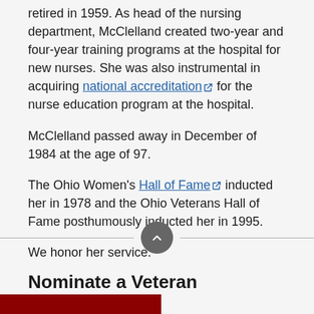retired in 1959. As head of the nursing department, McClelland created two-year and four-year training programs at the hospital for new nurses. She was also instrumental in acquiring national accreditation for the nurse education program at the hospital.
McClelland passed away in December of 1984 at the age of 97.
The Ohio Women's Hall of Fame inducted her in 1978 and the Ohio Veterans Hall of Fame posthumously inducted her in 1995.
We honor her service.
Nominate a Veteran